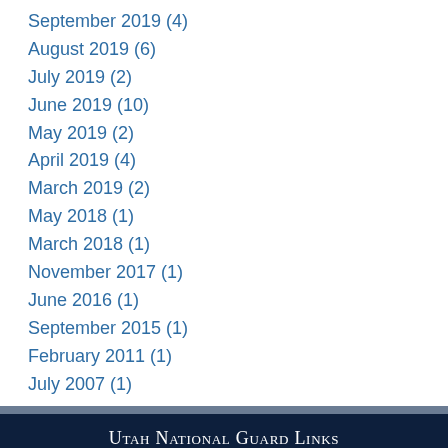September 2019 (4)
August 2019 (6)
July 2019 (2)
June 2019 (10)
May 2019 (2)
April 2019 (4)
March 2019 (2)
May 2018 (1)
March 2018 (1)
November 2017 (1)
June 2016 (1)
September 2015 (1)
February 2011 (1)
July 2007 (1)
Utah National Guard Links | Home | Site Map | Privacy & Security | Link Disclaimer | Web Policy | FOIA | No FEAR Act | Accessibility/Section 508 | Contact Us | Guard Careers